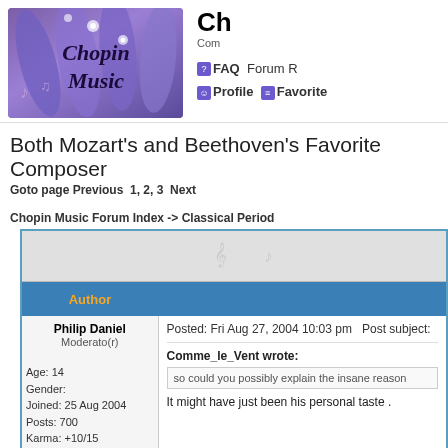[Figure (logo): Chopin Music logo with purple flowers/petals background, music notes, and text 'Chopin Music']
Ch... (Chopin Music) - Community forum header with FAQ, Forum R..., Profile, Favorite... navigation links
Both Mozart's and Beethoven's Favorite Composer
Goto page Previous  1, 2, 3  Next
Chopin Music Forum Index -> Classical Period
| Author |  |
| --- | --- |
| Philip Daniel
Moderato(r) | Posted: Fri Aug 27, 2004 10:03 pm    Post subject:

Comme_le_Vent wrote:
so could you possibly explain the insane reason...

It might have just been his personal taste . |
| Age: 14
Gender:
Joined: 25 Aug 2004
Posts: 700
Karma: +10/15 |  |